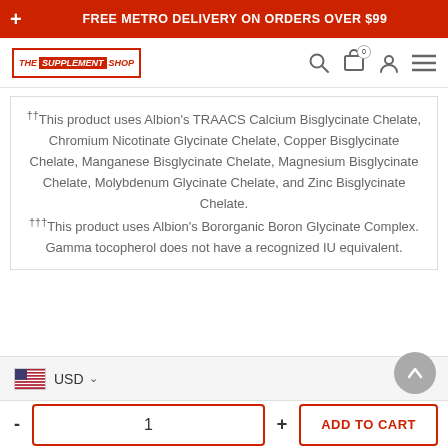FREE METRO DELIVERY ON ORDERS OVER $99
[Figure (logo): The Supplement Shop logo with search, cart (0), account, and menu icons]
††This product uses Albion's TRAACS Calcium Bisglycinate Chelate, Chromium Nicotinate Glycinate Chelate, Copper Bisglycinate Chelate, Manganese Bisglycinate Chelate, Magnesium Bisglycinate Chelate, Molybdenum Glycinate Chelate, and Zinc Bisglycinate Chelate. †††This product uses Albion's Bororganic Boron Glycinate Complex. Gamma tocopherol does not have a recognized IU equivalent.